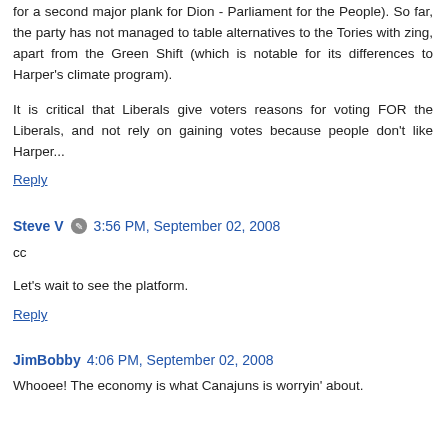for a second major plank for Dion - Parliament for the People). So far, the party has not managed to table alternatives to the Tories with zing, apart from the Green Shift (which is notable for its differences to Harper's climate program).
It is critical that Liberals give voters reasons for voting FOR the Liberals, and not rely on gaining votes because people don't like Harper...
Reply
Steve V  3:56 PM, September 02, 2008
cc
Let's wait to see the platform.
Reply
JimBobby  4:06 PM, September 02, 2008
Whooee! The economy is what Canajuns is worryin' about.